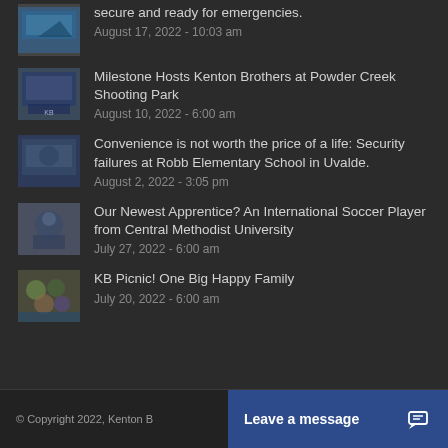secure and ready for emergencies.
August 17, 2022 - 10:03 am
Milestone Hosts Kenton Brothers at Powder Creek Shooting Park
August 10, 2022 - 6:00 am
Convenience is not worth the price of a life: Security failures at Robb Elementary School in Uvalde.
August 2, 2022 - 3:05 pm
Our Newest Apprentice? An International Soccer Player from Central Methodist University
July 27, 2022 - 6:00 am
KB Picnic! One Big Happy Family
July 20, 2022 - 6:00 am
© Copyright 2022, Kenton B... Leave a message